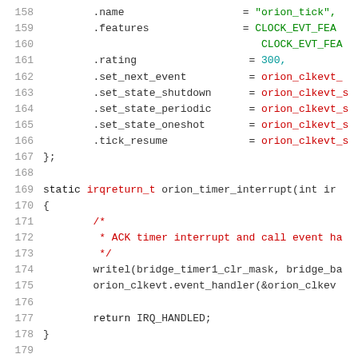[Figure (screenshot): Source code listing showing lines 158-178 of a C file implementing an Orion timer interrupt handler. Lines show struct initialization fields (.name, .features, .rating, .set_next_event, .set_state_shutdown, .set_state_periodic, .set_state_oneshot, .tick_resume) followed by a static irqreturn_t function orion_timer_interrupt with a comment about ACKing timer interrupt and calling event handler, then writel and orion_clkevt.event_handler calls, and return IRQ_HANDLED.]